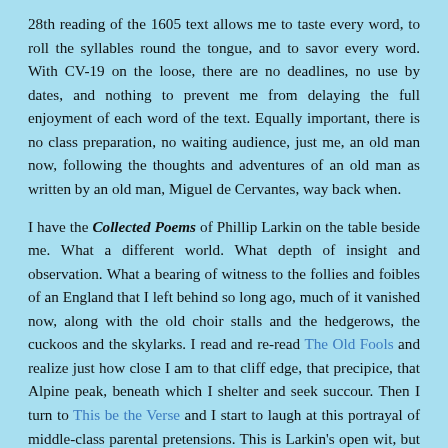28th reading of the 1605 text allows me to taste every word, to roll the syllables round the tongue, and to savor every word. With CV-19 on the loose, there are no deadlines, no use by dates, and nothing to prevent me from delaying the full enjoyment of each word of the text. Equally important, there is no class preparation, no waiting audience, just me, an old man now, following the thoughts and adventures of an old man as written by an old man, Miguel de Cervantes, way back when.
I have the Collected Poems of Phillip Larkin on the table beside me. What a different world. What depth of insight and observation. What a bearing of witness to the follies and foibles of an England that I left behind so long ago, much of it vanished now, along with the old choir stalls and the hedgerows, the cuckoos and the skylarks. I read and re-read The Old Fools and realize just how close I am to that cliff edge, that precipice, that Alpine peak, beneath which I shelter and seek succour. Then I turn to This be the Verse and I start to laugh at this portrayal of middle-class parental pretensions. This is Larkin's open wit, but his sly wit, like that of Cervantes, but more bitter, creeps up on you and catches